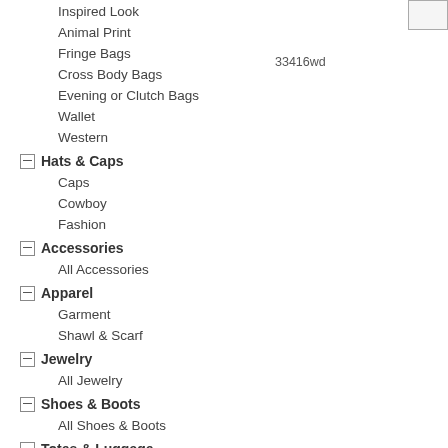Inspired Look
Animal Print
33416wd
Fringe Bags
Cross Body Bags
Evening or Clutch Bags
Wallet
Western
- Hats & Caps
Caps
Cowboy
Fashion
- Accessories
All Accessories
- Apparel
Garment
Shawl & Scarf
- Jewelry
All Jewelry
- Shoes & Boots
All Shoes & Boots
- Totes & Luggage
3 pc Luggage
2 pc Makeup